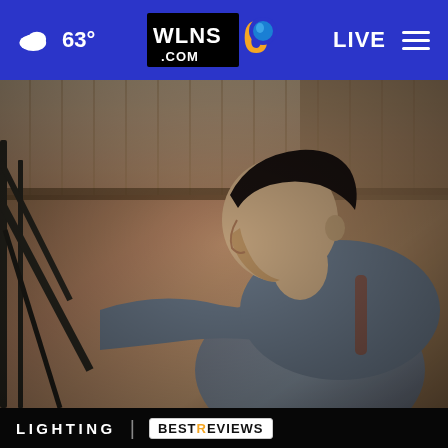☁ 63°  WLNS6.COM  LIVE ≡
[Figure (photo): A young man in a grey hoodie seen in profile, reaching toward a metal staircase railing inside a building with wooden plank ceiling and brick walls in the background. Warm lighting visible in the background.]
LIGHTING | BESTREVIEWS